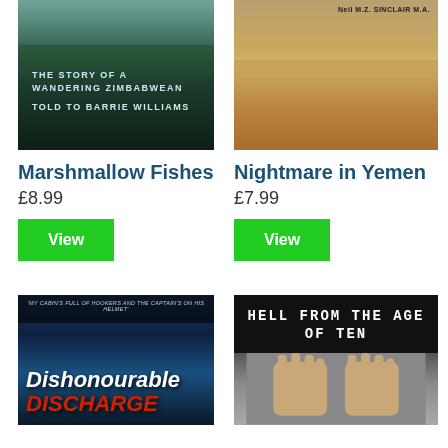[Figure (illustration): Book cover: Marshmallow Fishes - The Story of a Wandering Zimbabwean, Told to Barrie Williams. Dark green jungle/waterfall background with white text.]
Marshmallow Fishes
£8.99
View
[Figure (illustration): Book cover: Nightmare in Yemen by Neil M.Z. Sinclair M.A. Sandy/brown cityscape with ornate buildings.]
Nightmare in Yemen
£7.99
View
[Figure (illustration): Book cover: Dishonourable Discharge. Ocean background with bold italic white and red title text. Caption: 'My cabin's full of hookers and the captain's on his helmet'.]
[Figure (illustration): Book cover: Hell From the Age of Ten. Black background with white text header, image of person covering face with hands.]